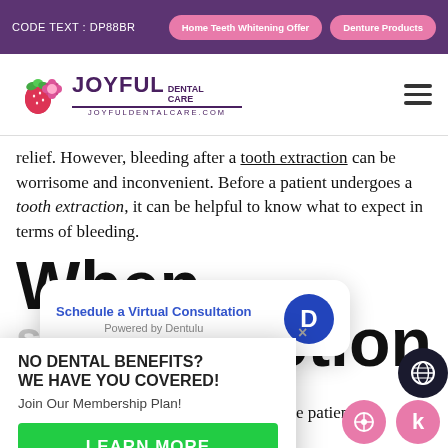CODE TEXT : DP88BR | Home Teeth Whitening Offer | Denture Products
[Figure (logo): Joyful Dental Care logo with strawberry/flower icon, purple text, joyfuldentalcare.com]
relief. However, bleeding after a tooth extraction can be worrisome and inconvenient. Before a patient undergoes a tooth extraction, it can be helpful to know what to expect in terms of bleeding.
When stops after extraction
[Figure (screenshot): Schedule a Virtual Consultation popup with Dentulu branding and blue avatar with D]
[Figure (infographic): NO DENTAL BENEFITS? WE HAVE YOU COVERED! Join Our Membership Plan! LEARN MORE popup card]
After the dentist or oral surgeon gives the patient a gauze on. The gauze helps to absorb es a blood clot to form.